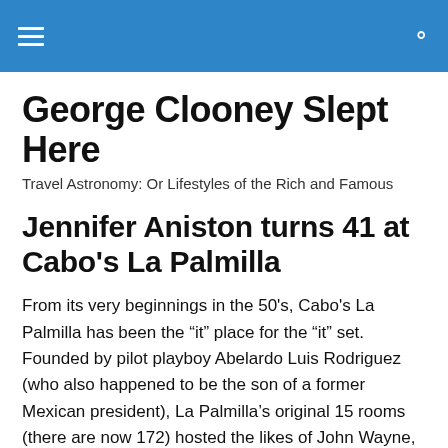George Clooney Slept Here
George Clooney Slept Here
Travel Astronomy: Or Lifestyles of the Rich and Famous
Jennifer Aniston turns 41 at Cabo's La Palmilla
From its very beginnings in the 50's, Cabo's La Palmilla has been the “it” place for the “it” set. Founded by pilot playboy Abelardo Luis Rodriguez (who also happened to be the son of a former Mexican president), La Palmilla’s original 15 rooms (there are now 172) hosted the likes of John Wayne, Lucille Ball, Clark Gable and Dwight